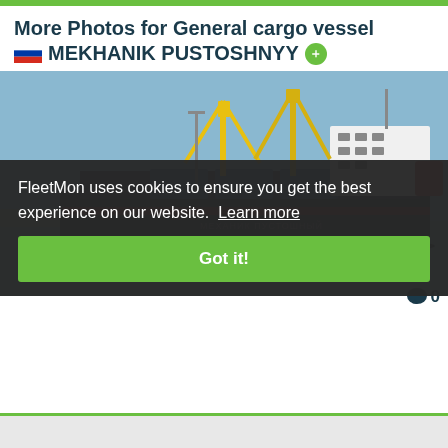More Photos for General cargo vessel MEKHANIK PUSTOSHNYY
[Figure (photo): General cargo vessel MEKHANIK PUSTOSHNYY photographed at sea, showing yellow cranes, blue cargo hatches, white superstructure, and dark hull. Cookie consent overlay visible over the lower portion.]
FleetMon uses cookies to ensure you get the best experience on our website. Learn more
Got it!